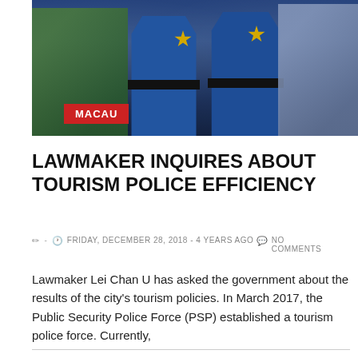[Figure (photo): Police officers in blue uniforms with star badges standing in a crowd, several people visible around them]
LAWMAKER INQUIRES ABOUT TOURISM POLICE EFFICIENCY
✏ - 🕐 FRIDAY, DECEMBER 28, 2018 - 4 YEARS AGO 💬 NO COMMENTS
Lawmaker Lei Chan U has asked the government about the results of the city's tourism policies. In March 2017, the Public Security Police Force (PSP) established a tourism police force. Currently,